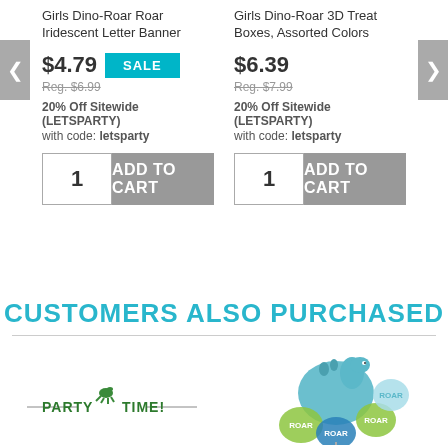Girls Dino-Roar Roar Iridescent Letter Banner
$4.79 SALE
Reg. $6.99
20% Off Sitewide (LETSPARTY) with code: letsparty
1 ADD TO CART
Girls Dino-Roar 3D Treat Boxes, Assorted Colors
$6.39
Reg. $7.99
20% Off Sitewide (LETSPARTY) with code: letsparty
1 ADD TO CART
CUSTOMERS ALSO PURCHASED
[Figure (illustration): Party Time banner with dinosaur graphic in green]
[Figure (illustration): Dino-Roar balloon bouquet with blue dinosaur and green/blue ROAR balloons]